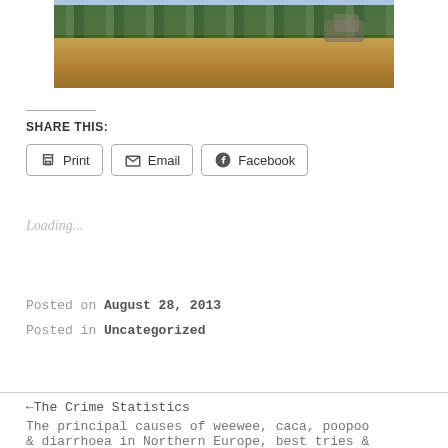[Figure (photo): Landscape photo showing dry golden hillside with green trees and rocky outcrops in background under overcast sky]
SHARE THIS:
Print  Email  Facebook
Loading...
Posted on August 28, 2013
Posted in Uncategorized
←The Crime Statistics
The principal causes of weewee, caca, poopoo & diarrhoea in Northern Europe, best tries &...